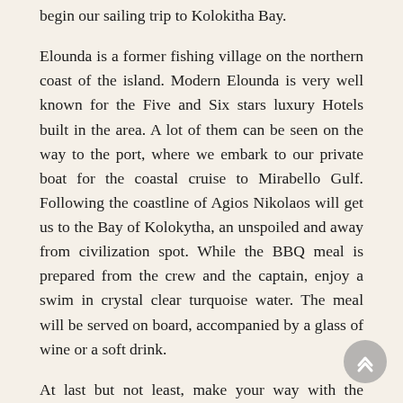begin our sailing trip to Kolokitha Bay.
Elounda is a former fishing village on the northern coast of the island. Modern Elounda is very well known for the Five and Six stars luxury Hotels built in the area. A lot of them can be seen on the way to the port, where we embark to our private boat for the coastal cruise to Mirabello Gulf. Following the coastline of Agios Nikolaos will get us to the Bay of Kolokytha, an unspoiled and away from civilization spot. While the BBQ meal is prepared from the crew and the captain, enjoy a swim in crystal clear turquoise water. The meal will be served on board, accompanied by a glass of wine or a soft drink.
At last but not least, make your way with the guided tour to Spinalonga where the legacy of the lepers